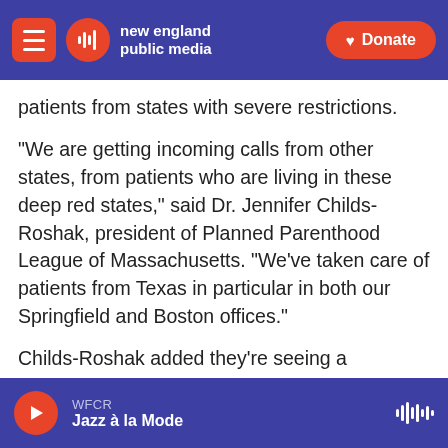new england public media | Donate
patients from states with severe restrictions.
“We are getting incoming calls from other states, from patients who are living in these deep red states,” said Dr. Jennifer Childs-Roshak, president of Planned Parenthood League of Massachusetts. “We’ve taken care of patients from Texas in particular in both our Springfield and Boston offices.”
Childs-Roshak added they’re seeing a noticeable increase in patients as a direct result of Texas’ recent abortion ban.
WFCR
Jazz à la Mode